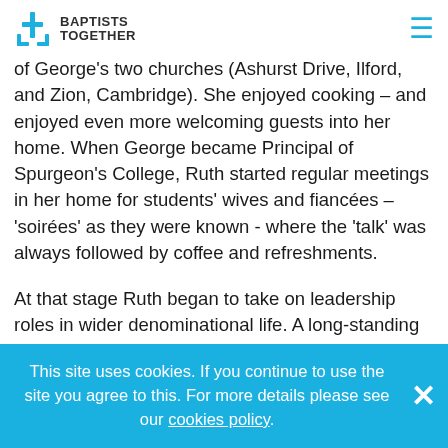BAPTISTS TOGETHER
of George's two churches (Ashurst Drive, Ilford, and Zion, Cambridge). She enjoyed cooking – and enjoyed even more welcoming guests into her home. When George became Principal of Spurgeon's College, Ruth started regular meetings in her home for students' wives and fiancées – 'soirées' as they were known - where the 'talk' was always followed by coffee and refreshments.
At that stage Ruth began to take on leadership roles in wider denominational life. A long-standing member of the national committee of the Baptist Ministers and Missionaries' Fellowship, she was its President...
This site uses cookies. If you continue to use the site you agree to this. For more details please see our cookies policy.